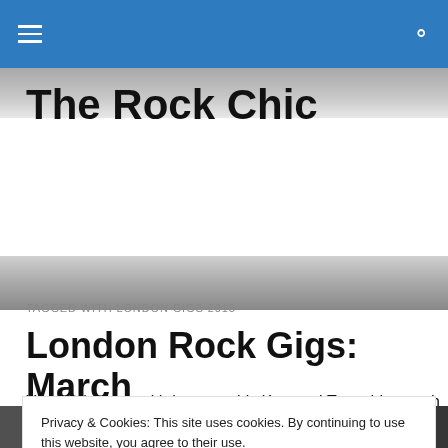The Rock Chic — Navigation bar with hamburger menu and search icon
The Rock Chic
TAGGED WITH LONDON GIGS 2013
London Rock Gigs: March
You might think with last month's Kerrang! Tour, this month might find it a bit hard to compete. Well fear not, there's
Privacy & Cookies: This site uses cookies. By continuing to use this website, you agree to their use.
To find out more, including how to control cookies, see here: Cookie Policy
[Figure (photo): Black and white photo strip of rock musicians at the bottom of the page]